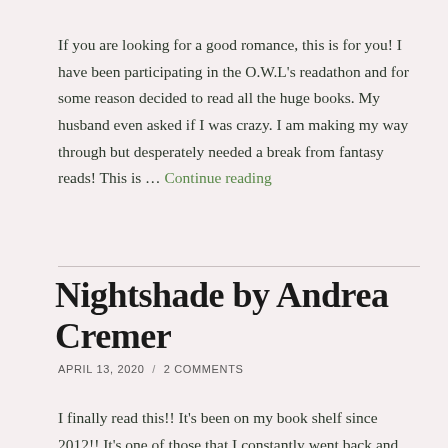If you are looking for a good romance, this is for you! I have been participating in the O.W.L's readathon and for some reason decided to read all the huge books. My husband even asked if I was crazy. I am making my way through but desperately needed a break from fantasy reads! This is … Continue reading
Nightshade by Andrea Cremer
APRIL 13, 2020 / 2 COMMENTS
I finally read this!! It's been on my book shelf since 2012!! It's one of those that I constantly went back and